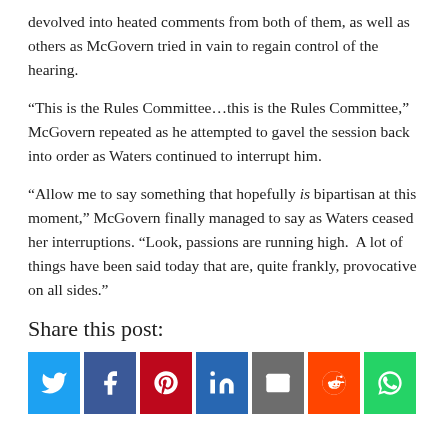devolved into heated comments from both of them, as well as others as McGovern tried in vain to regain control of the hearing.
“This is the Rules Committee…this is the Rules Committee,” McGovern repeated as he attempted to gavel the session back into order as Waters continued to interrupt him.
“Allow me to say something that hopefully is bipartisan at this moment,” McGovern finally managed to say as Waters ceased her interruptions. “Look, passions are running high.  A lot of things have been said today that are, quite frankly, provocative on all sides.”
Share this post:
[Figure (infographic): Row of 7 social media share buttons: Twitter (blue), Facebook (dark blue), Pinterest (red), LinkedIn (blue), Email (grey), Reddit (orange), WhatsApp (green)]